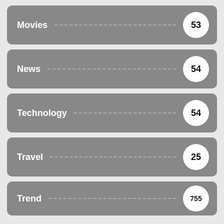Movies — 53
News — 54
Technology — 54
Travel — 25
Trend — 755